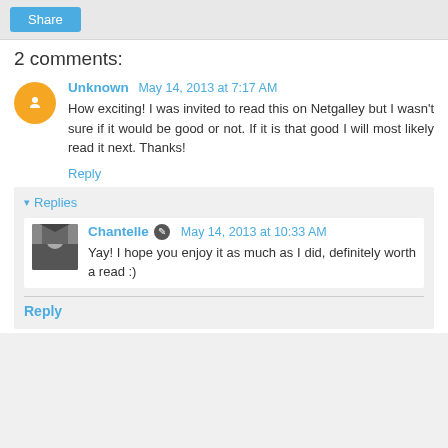Share
2 comments:
Unknown May 14, 2013 at 7:17 AM
How exciting! I was invited to read this on Netgalley but I wasn't sure if it would be good or not. If it is that good I will most likely read it next. Thanks!
Reply
Replies
Chantelle May 14, 2013 at 10:33 AM
Yay! I hope you enjoy it as much as I did, definitely worth a read :)
Reply